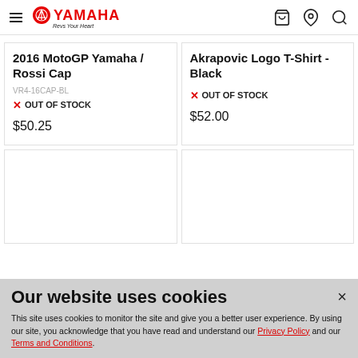Yamaha - Revs Your Heart
2016 MotoGP Yamaha / Rossi Cap
VR4-16CAP-BL
OUT OF STOCK
$50.25
Akrapovic Logo T-Shirt - Black
OUT OF STOCK
$52.00
Our website uses cookies
This site uses cookies to monitor the site and give you a better user experience. By using our site, you acknowledge that you have read and understand our Privacy Policy and our Terms and Conditions.